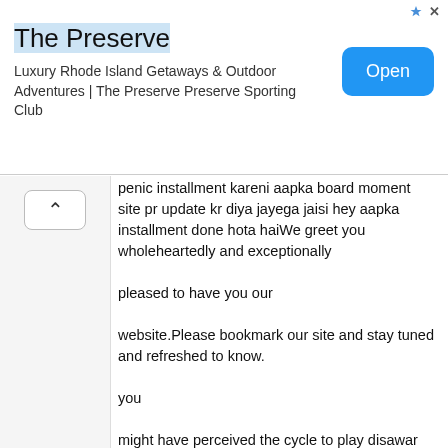[Figure (other): Advertisement banner for 'The Preserve' - Luxury Rhode Island Getaways & Outdoor Adventures | The Preserve Preserve Sporting Club, with an Open button]
penic installment kareni aapka board moment site pr update kr diya jayega jaisi hey aapka installment done hota haiWe greet you wholeheartedly and exceptionally

pleased to have you our

website.Please bookmark our site and stay tuned and refreshed to know.

you

might have perceived the cycle to play disawar satta gali game and caught wind of fix spill jodi

disawar gali from

your companions, family members, Actaully